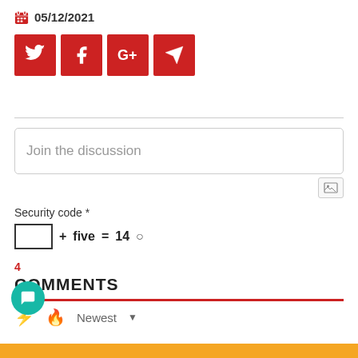05/12/2021
[Figure (other): Social share buttons: Twitter, Facebook, Google+, Send (paper plane), all with red backgrounds and white icons]
Join the discussion
[Figure (other): Image upload icon button]
Security code *
4
COMMENTS
Newest ▾